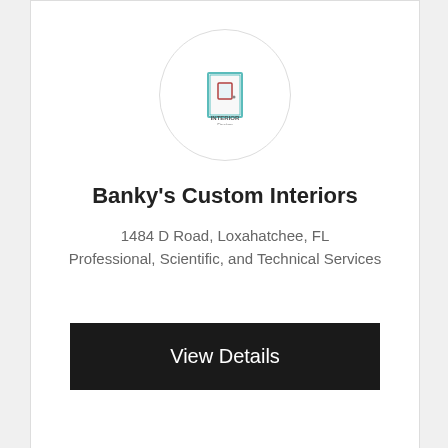[Figure (logo): Interior Design logo inside a circular frame — a small door icon with 'INTERIOR Design' text beneath it]
Banky's Custom Interiors
1484 D Road, Loxahatchee, FL
Professional, Scientific, and Technical Services
[Figure (other): Black 'View Details' button]
[Figure (logo): Interior Design logo inside a circular frame — partially visible at bottom]
[Figure (other): Gray 'Call Now' button and green phone icon circle]